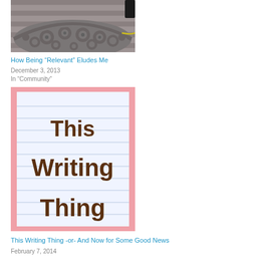[Figure (photo): Photo of a decorative carved floral rug or mat on a wooden deck surface, viewed from above. Black chair leg visible at top right.]
How Being “Relevant” Eludes Me
December 3, 2013
In “Community”
[Figure (photo): Image of lined notebook paper with pink border, displaying text 'This Writing Thing' written in brown rounded font across three lines.]
This Writing Thing -or- And Now for Some Good News
February 7, 2014